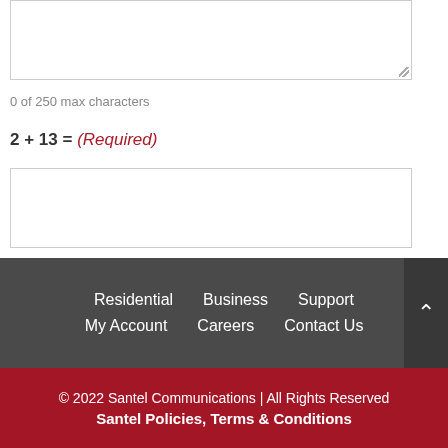[Figure (other): Text area input box (form field)]
0 of 250 max characters
2 + 13 = (Required)
[Figure (other): Captcha answer input box (form field)]
Residential  Business  Support  My Account  Careers  Contact Us
© 2022 Santel Communications | All Rights Reserved
Santel Policies, Terms & Conditions